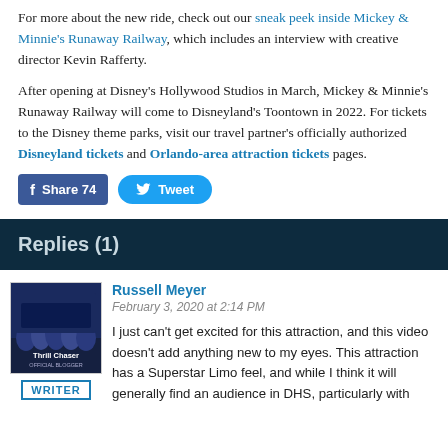For more about the new ride, check out our sneak peek inside Mickey & Minnie's Runaway Railway, which includes an interview with creative director Kevin Rafferty.
After opening at Disney's Hollywood Studios in March, Mickey & Minnie's Runaway Railway will come to Disneyland's Toontown in 2022. For tickets to the Disney theme parks, visit our travel partner's officially authorized Disneyland tickets and Orlando-area attraction tickets pages.
[Figure (other): Facebook Share 74 button and Twitter Tweet button]
Replies (1)
[Figure (photo): Thrill Chaser Official Blogger avatar image with WRITER badge]
Russell Meyer
February 3, 2020 at 2:14 PM
I just can't get excited for this attraction, and this video doesn't add anything new to my eyes. This attraction has a Superstar Limo feel, and while I think it will generally find an audience in DHS, particularly with...